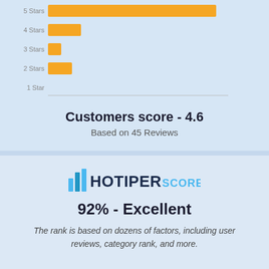[Figure (bar-chart): Star Ratings]
Customers score - 4.6
Based on 45 Reviews
[Figure (logo): Hotiper Score logo with bar chart icon and text 'HOTIPER SCORE']
92% - Excellent
The rank is based on dozens of factors, including user reviews, category rank, and more.